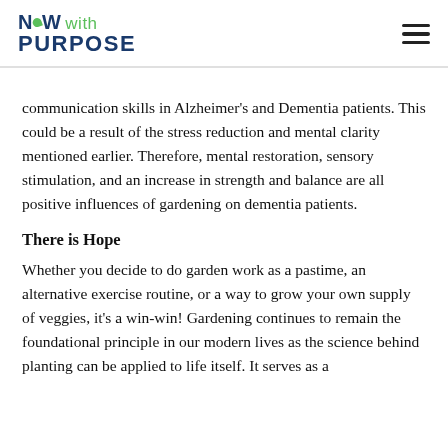NOW with PURPOSE
communication skills in Alzheimer's and Dementia patients. This could be a result of the stress reduction and mental clarity mentioned earlier. Therefore, mental restoration, sensory stimulation, and an increase in strength and balance are all positive influences of gardening on dementia patients.
There is Hope
Whether you decide to do garden work as a pastime, an alternative exercise routine, or a way to grow your own supply of veggies, it's a win-win! Gardening continues to remain the foundational principle in our modern lives as the science behind planting can be applied to life itself. It serves as a